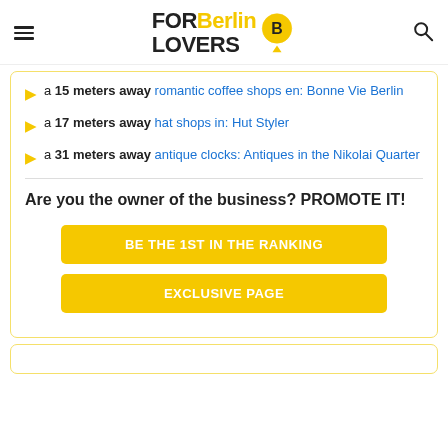FOR Berlin LOVERS
a 15 meters away romantic coffee shops en: Bonne Vie Berlin
a 17 meters away hat shops in: Hut Styler
a 31 meters away antique clocks: Antiques in the Nikolai Quarter
Are you the owner of the business? PROMOTE IT!
BE THE 1ST IN THE RANKING
EXCLUSIVE PAGE